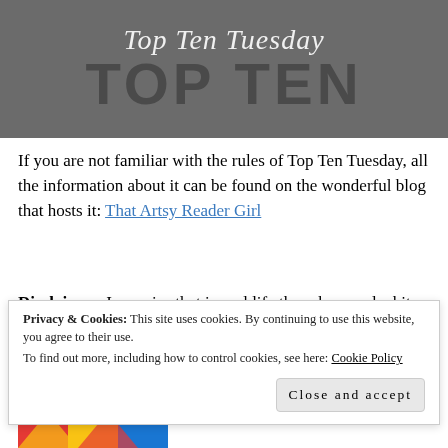[Figure (illustration): Top Ten Tuesday blog banner with grey background. Script text 'Top Ten Tuesday' in white italic, and large bold block letters 'TOP TEN' in dark grey.]
If you are not familiar with the rules of Top Ten Tuesday,  all the information about it can be found on the wonderful blog that hosts it: That Artsy Reader Girl
Disclaimer: I promise that in real life these have red white and blue. Some of them don't look like it on the
Privacy & Cookies: This site uses cookies. By continuing to use this website, you agree to their use.
To find out more, including how to control cookies, see here: Cookie Policy
Close and accept
[Figure (photo): Partial photo at bottom left showing colorful red, yellow, and blue shapes.]